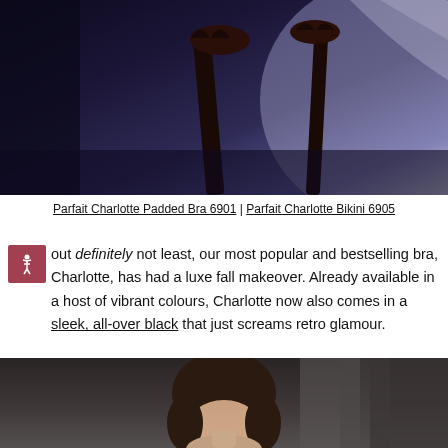[Figure (photo): Dark moody fashion photo showing a model in black lingerie with decorative furniture legs visible, purple/blue toned background]
Parfait Charlotte Padded Bra 6901 | Parfait Charlotte Bikini 6905 in Black
out definitely not least, our most popular and bestselling bra, Charlotte, has had a luxe fall makeover. Already available in a host of vibrant colours, Charlotte now also comes in a sleek, all-over black that just screams retro glamour.
[Figure (photo): Bottom portion of a fashion photo showing a model with dark hair against a dark/grey curtained background]